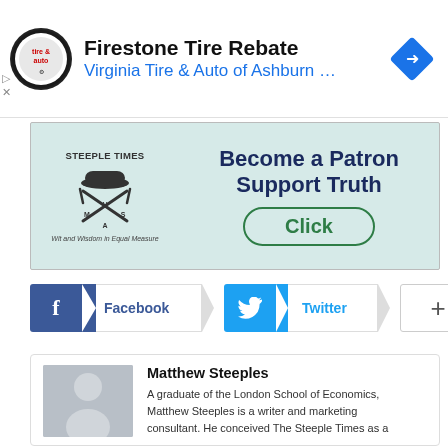[Figure (screenshot): Advertisement banner: Firestone Tire Rebate, Virginia Tire & Auto of Ashburn ... with logo and navigation icon]
[Figure (screenshot): Steeple Times banner ad: Become a Patron Support Truth, Click button, with Steeple Times logo and tagline 'Wit and Wisdom in Equal Measure']
[Figure (screenshot): Social sharing buttons row: Facebook, Twitter, and plus button]
[Figure (screenshot): Author box with avatar placeholder, name Matthew Steeples, and bio text about being a graduate of London School of Economics]
Matthew Steeples
A graduate of the London School of Economics, Matthew Steeples is a writer and marketing consultant. He conceived The Steeple Times as a